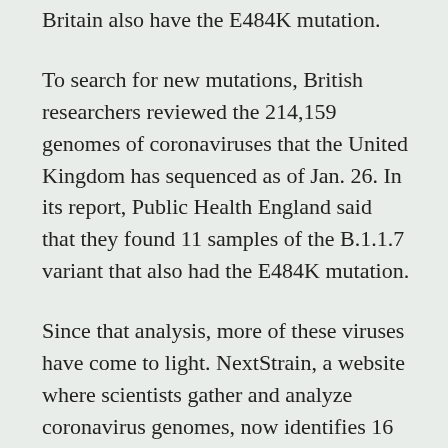Britain also have the E484K mutation.
To search for new mutations, British researchers reviewed the 214,159 genomes of coronaviruses that the United Kingdom has sequenced as of Jan. 26. In its report, Public Health England said that they found 11 samples of the B.1.1.7 variant that also had the E484K mutation.
Since that analysis, more of these viruses have come to light. NextStrain, a website where scientists gather and analyze coronavirus genomes, now identifies 16 B.1.1.7 variants that carry the E484K mutation.
These B.1.1.7 coronaviruses gained the mutation thanks to random copying errors as they multiplied inside of people. The evolutionary tree of the coronaviruses suggests that 15 of the variants...